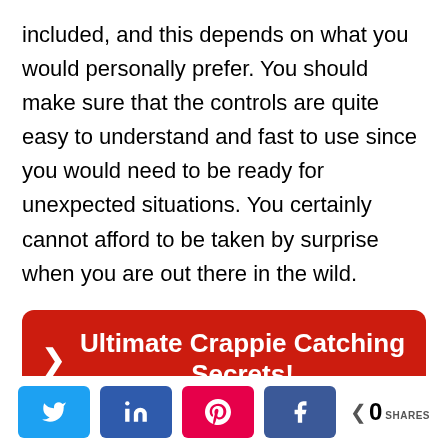included, and this depends on what you would personally prefer. You should make sure that the controls are quite easy to understand and fast to use since you would need to be ready for unexpected situations. You certainly cannot afford to be taken by surprise when you are out there in the wild.
> Ultimate Crappie Catching Secrets!
[Figure (other): Social sharing bar with Twitter, LinkedIn, Pinterest, Facebook buttons and a share count of 0 SHARES]